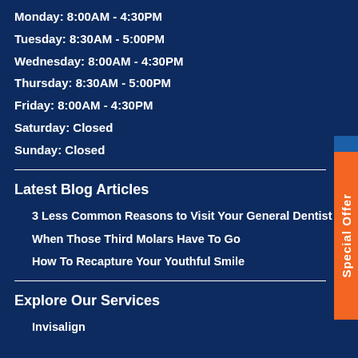Monday: 8:00AM - 4:30PM
Tuesday: 8:30AM - 5:00PM
Wednesday: 8:00AM - 4:30PM
Thursday: 8:30AM - 5:00PM
Friday: 8:00AM - 4:30PM
Saturday: Closed
Sunday: Closed
Latest Blog Articles
3 Less Common Reasons to Visit Your General Dentist
When Those Third Molars Have To Go
How To Recapture Your Youthful Smile
Explore Our Services
Invisalign